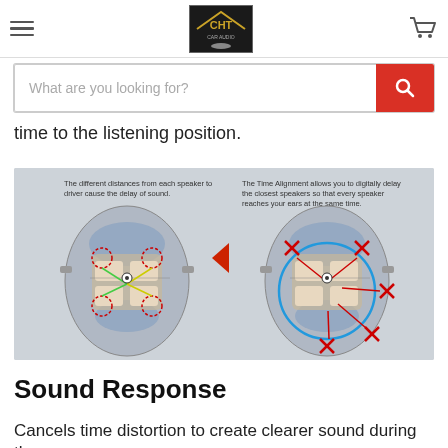CHT Car Audio — navigation header with logo and cart
What are you looking for?
time to the listening position.
[Figure (illustration): Time Alignment diagram showing two top-down car views. Left: different distances from each speaker to driver cause the delay of sound. Right: The Time Alignment allows you to digitally delay the closest speakers so that every speaker reaches your ears at the same time. A red play arrow separates the two diagrams.]
Sound Response
Cancels time distortion to create clearer sound during the